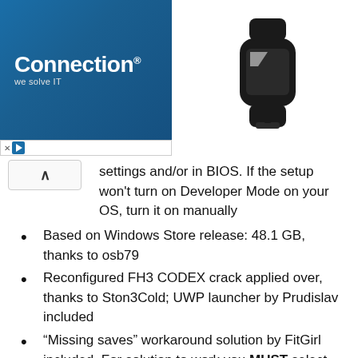[Figure (logo): Connection 'we solve IT' advertisement banner with blue gradient background]
[Figure (photo): Black smartwatch/wearable device product image]
settings and/or in BIOS. If the setup won't turn on Developer Mode on your OS, turn it on manually
Based on Windows Store release: 48.1 GB, thanks to osb79
Reconfigured FH3 CODEX crack applied over, thanks to Ston3Cold; UWP launcher by Prudislav included
“Missing saves” workaround solution by FitGirl included  For solution to work you MUST select “Saves” folder inside game’s folder on the first launch and you must run the game ONLY via desktop icon
100% Lossless & MD5 Perfect: all files are identical to originals after installation (when installed with all languages)